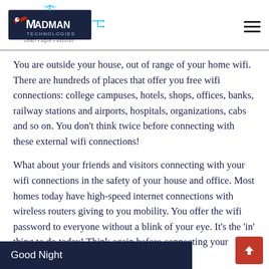[Figure (logo): Madman Technologies logo with tagline 'Smart • Agile • Assured']
You are outside your house, out of range of your home wifi. There are hundreds of places that offer you free wifi connections: college campuses, hotels, shops, offices, banks, railway stations and airports, hospitals, organizations, cabs and so on. You don't think twice before connecting with these external wifi connections!
What about your friends and visitors connecting with your wifi connections in the safety of your house and office. Most homes today have high-speed internet connections with wireless routers giving to you mobility. You offer the wifi password to everyone without a blink of your eye. It's the 'in' thing to do today! Think again before connecting your devices with ...ms WPA, WEP, etc.
Good Night